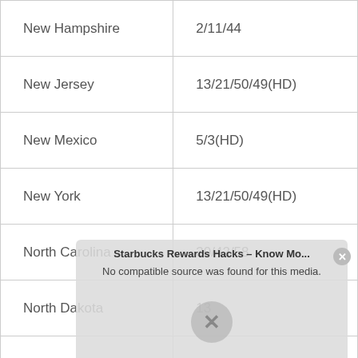| New Hampshire | 2/11/44 |
| New Jersey | 13/21/50/49(HD) |
| New Mexico | 5/3(HD) |
| New York | 13/21/50/49(HD) |
| North Carolina | 30/42/58 |
| North Dakota | 13 |
| Ohio | 30/34/dia. |